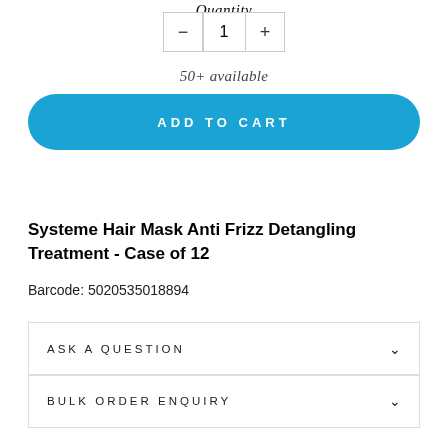Quantity
[Figure (other): Quantity selector widget with minus button, number 1, and plus button inside a bordered box]
50+ available
ADD TO CART
Systeme Hair Mask Anti Frizz Detangling Treatment - Case of 12
Barcode: 5020535018894
ASK A QUESTION
BULK ORDER ENQUIRY